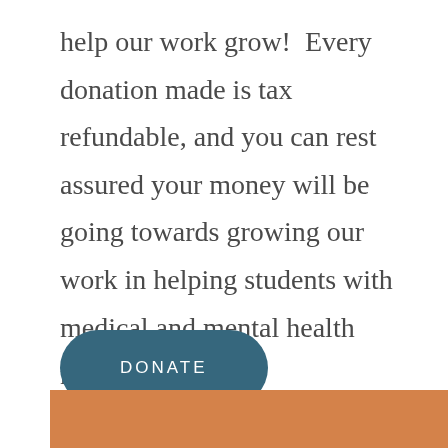help our work grow!  Every donation made is tax refundable, and you can rest assured your money will be going towards growing our work in helping students with medical and mental health needs.
[Figure (other): A rounded rectangle button with dark teal/slate blue background containing the text DONATE in white spaced capitals]
[Figure (other): An orange/amber colored rectangular banner strip at the bottom of the page]